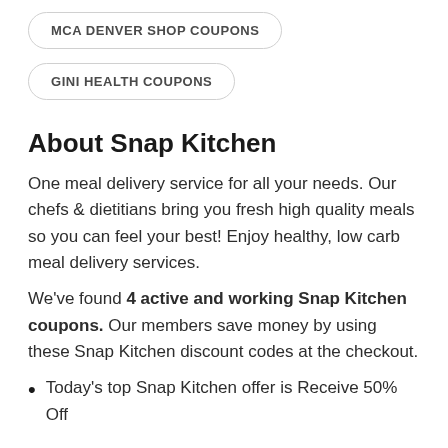MCA DENVER SHOP COUPONS
GINI HEALTH COUPONS
About Snap Kitchen
One meal delivery service for all your needs. Our chefs & dietitians bring you fresh high quality meals so you can feel your best! Enjoy healthy, low carb meal delivery services.
We've found 4 active and working Snap Kitchen coupons. Our members save money by using these Snap Kitchen discount codes at the checkout.
Today's top Snap Kitchen offer is Receive 50% Off